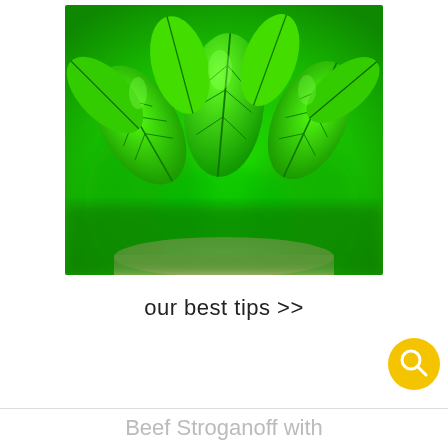[Figure (photo): Close-up photograph of fresh green basil leaves in a pot, bright vibrant green color, blurred background]
our best tips >>
Beef Stroganoff with Mushroom Soup